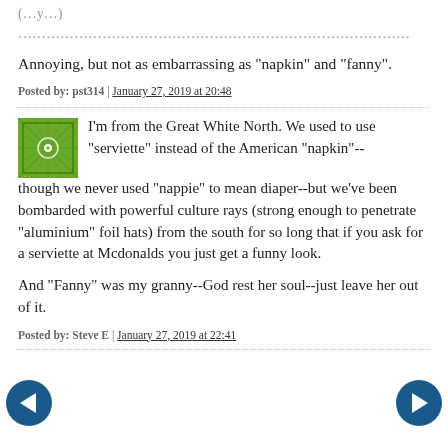(truncated top text — partially visible)
Annoying, but not as embarrassing as "napkin" and "fanny".
Posted by: pst314 | January 27, 2019 at 20:48
I'm from the Great White North. We used to use "serviette" instead of the American "napkin"--though we never used "nappie" to mean diaper--but we've been bombarded with powerful culture rays (strong enough to penetrate "aluminium" foil hats) from the south for so long that if you ask for a serviette at Mcdonalds you just get a funny look.
And "Fanny" was my granny--God rest her soul--just leave her out of it.
Posted by: Steve E | January 27, 2019 at 22:41